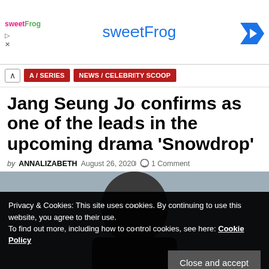[Figure (screenshot): sweetFrog advertisement banner with logo and blue arrow icon]
A / SERIES  NEWS / CELEBRITY SCOOP
Jang Seung Jo confirms as one of the leads in the upcoming drama ‘Snowdrop’
by ANNALIZABETH  August 26, 2020  1 Comment
[Figure (photo): Photo of Jang Seung Jo with cookie consent overlay banner]
Privacy & Cookies: This site uses cookies. By continuing to use this website, you agree to their use. To find out more, including how to control cookies, see here: Cookie Policy